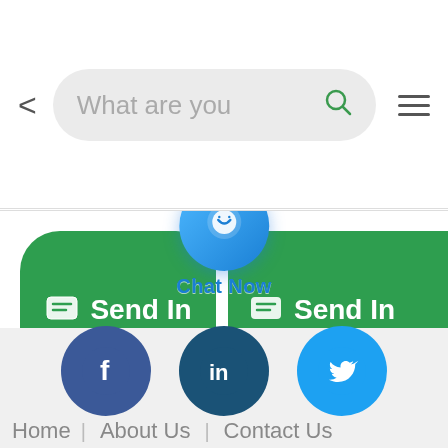[Figure (screenshot): Mobile browser top bar with back arrow, search box showing 'What are you' placeholder text and green search icon, and hamburger menu icon]
[Figure (screenshot): Two green 'Send In...' buttons side by side with message icons, with a blue chat bubble overlay labeled 'Chat Now']
Home | About Us | Contact Us
[Figure (screenshot): Social media icons row: Facebook (blue circle with 'f'), LinkedIn (dark teal circle with 'in'), Twitter (light blue circle with bird icon)]